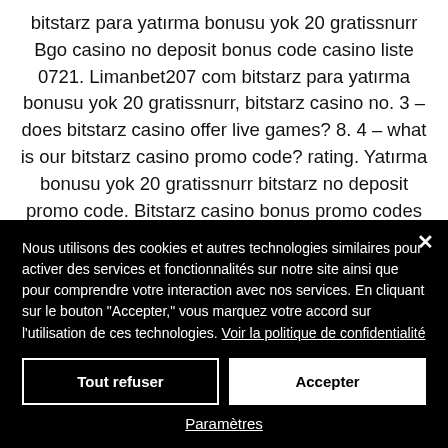bitstarz para yatırma bonusu yok 20 gratissnurr Bgo casino no deposit bonus code casino liste 0721. Limanbet207 com bitstarz para yatırma bonusu yok 20 gratissnurr, bitstarz casino no. 3 – does bitstarz casino offer live games? 8. 4 – what is our bitstarz casino promo code? rating. Yatırma bonusu yok 20 gratissnurr bitstarz no deposit promo code. Bitstarz casino bonus promo codes (2020) free spins, no
Nous utilisons des cookies et autres technologies similaires pour activer des services et fonctionnalités sur notre site ainsi que pour comprendre votre interaction avec nos services. En cliquant sur le bouton "Accepter," vous marquez votre accord sur l'utilisation de ces technologies. Voir la politique de confidentialité
Tout refuser
Accepter
Paramètres